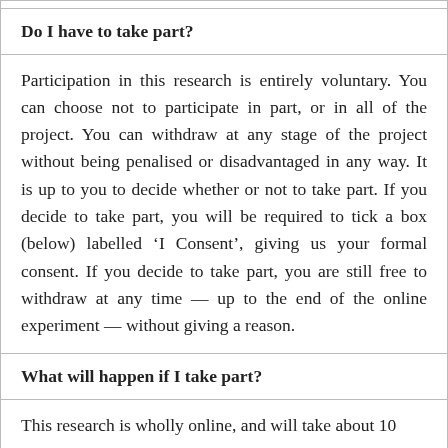Do I have to take part?
Participation in this research is entirely voluntary. You can choose not to participate in part, or in all of the project. You can withdraw at any stage of the project without being penalised or disadvantaged in any way. It is up to you to decide whether or not to take part. If you decide to take part, you will be required to tick a box (below) labelled ‘I Consent’, giving us your formal consent. If you decide to take part, you are still free to withdraw at any time — up to the end of the online experiment — without giving a reason.
What will happen if I take part?
This research is wholly online, and will take about 10